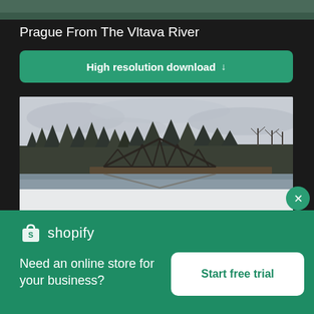[Figure (screenshot): Top image strip showing a partial view of a dark-toned scene]
Prague From The Vltava River
High resolution download ↓
[Figure (photo): Winter landscape photo showing a metal truss railway bridge over a partially frozen river, surrounded by snow-covered ground and coniferous trees under an overcast sky]
[Figure (logo): Shopify logo — shopping bag icon with letter S, and text 'shopify']
Need an online store for your business?
Start free trial